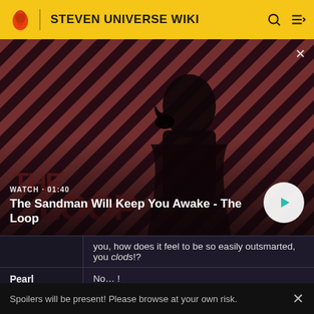STEVEN UNIVERSE WIKI
[Figure (screenshot): Video thumbnail for 'The Sandman Will Keep You Awake - The Loop' showing a dark figure with a crow on their shoulder against a striped red and dark background. Duration shown as 01:40.]
WATCH · 01:40
The Sandman Will Keep You Awake - The Loop
| Speaker | Dialogue |
| --- | --- |
|  | you, how does it feel to be so easily outsmarted, you clods!? |
| Pearl | No… ! |
Spoilers will be present! Please browse at your own risk.